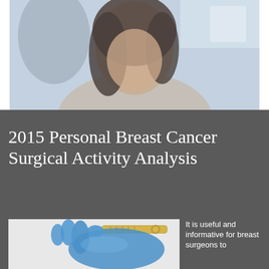[Figure (photo): Blurred photo of a dark-haired woman, likely a medical professional, in a clinical setting]
2015 Personal Breast Cancer Surgical Activity Analysis
[Figure (photo): Gloved hand holding a surgical scalpel]
It is useful and informative for breast surgeons to